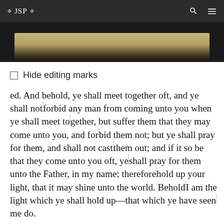❖ JSP ❖
[Figure (photo): A dark photograph showing what appears to be a rolled or folded document/scroll against a black background, with a beige/tan colored paper or parchment visible.]
□ Hide editing marks
ed. And behold, ye shall meet together oft, and ye shall not forbid any man from coming unto you when ye shall meet together, but suffer them that they may come unto you, and forbid them not; but ye shall pray for them, and shall not cast them out; and if it so be that they come unto you oft, ye shall pray for them unto the Father, in my name; therefore hold up your light, that it may shine unto the world. Behold I am the light which ye shall hold up—that which ye have seen me do.